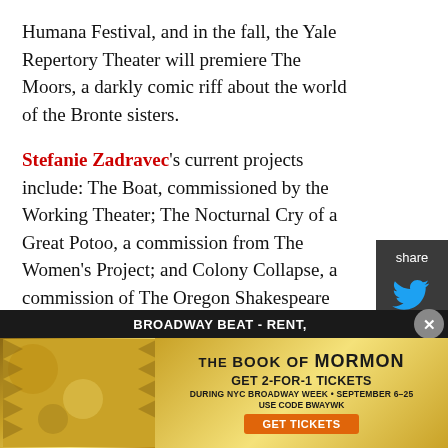Humana Festival, and in the fall, the Yale Repertory Theater will premiere The Moors, a darkly comic riff about the world of the Bronte sisters.
Stefanie Zadravec's current projects include: The Boat, commissioned by the Working Theater; The Nocturnal Cry of a Great Potoo, a commission from The Women's Project; and Colony Collapse, a commission of The Oregon Shakespeare Festival. Colony Collapse is about recovering meth addicts starting a new life on an orchard in Oregon.
Mid-Career Playwrights:
David Grimm is known for his witty spins on classic
[Figure (other): Share panel with Twitter and Facebook icons on dark background]
[Figure (other): Broadway Beat - Rent advertisement bar with close button]
[Figure (other): The Book of Mormon musical advertisement banner: GET 2-FOR-1 TICKETS DURING NYC BROADWAY WEEK - SEPTEMBER 6-25 USE CODE BWAYWK GET TICKETS]